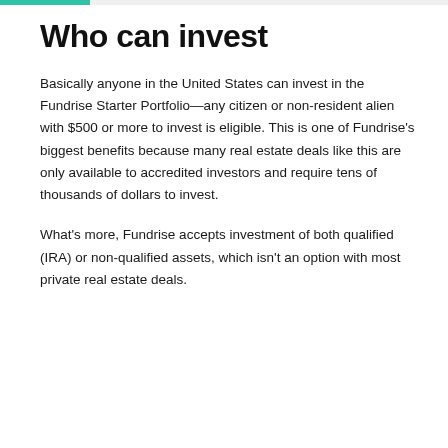Who can invest
Basically anyone in the United States can invest in the Fundrise Starter Portfolio—any citizen or non-resident alien with $500 or more to invest is eligible. This is one of Fundrise's biggest benefits because many real estate deals like this are only available to accredited investors and require tens of thousands of dollars to invest.
What's more, Fundrise accepts investment of both qualified (IRA) or non-qualified assets, which isn't an option with most private real estate deals.